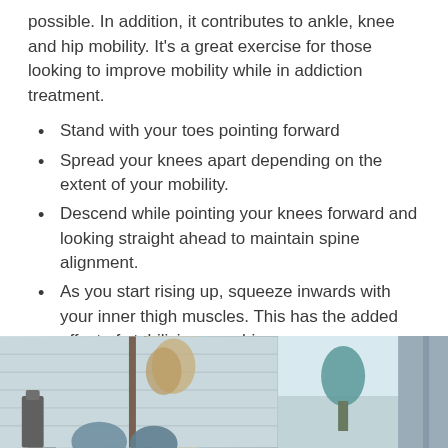possible. In addition, it contributes to ankle, knee and hip mobility. It's a great exercise for those looking to improve mobility while in addiction treatment.
Stand with your toes pointing forward
Spread your knees apart depending on the extent of your mobility.
Descend while pointing your knees forward and looking straight ahead to maintain spine alignment.
As you start rising up, squeeze inwards with your inner thigh muscles. This has the added effect of stabilizing your hips.
Start out with 10 squats. Over time, you can increase the number of reps. It all depends on how comfortable you feel.
[Figure (photo): Two side-by-side photographs at the bottom of the page showing outdoor/indoor scenes with decorative objects]